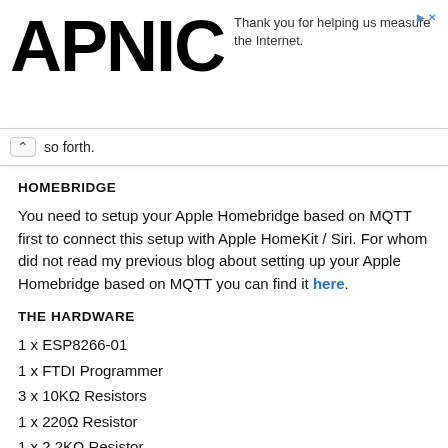APNIC — Thank you for helping us measure the Internet.
so forth.
HOMEBRIDGE
You need to setup your Apple Homebridge based on MQTT first to connect this setup with Apple HomeKit / Siri. For whom did not read my previous blog about setting up your Apple Homebridge based on MQTT you can find it here.
THE HARDWARE
1 x ESP8266-01
1 x FTDI Programmer
3 x 10KΩ Resistors
1 x 220Ω Resistor
1 x 2.2KΩ Resistor